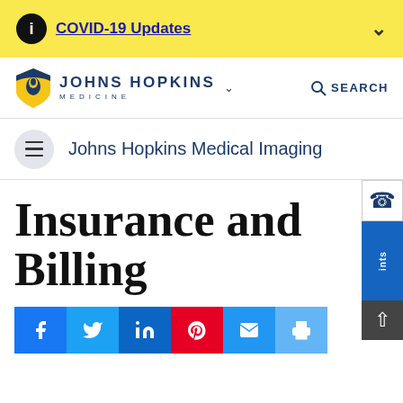COVID-19 Updates
[Figure (logo): Johns Hopkins Medicine logo with blue/yellow shield icon]
Johns Hopkins Medical Imaging
Insurance and Billing
Social sharing buttons: Facebook, Twitter, LinkedIn, Pinterest, Email, Print